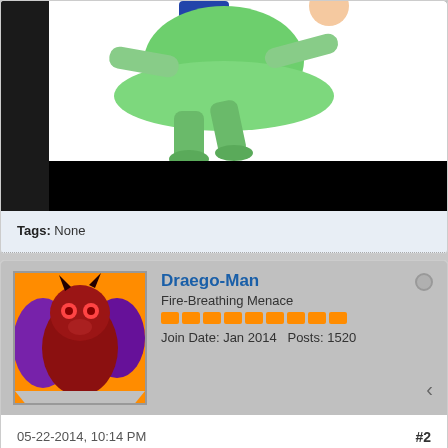[Figure (photo): Cropped image of a green animated female character figure against a black background, partially visible, showing flowing green skirt and legs]
Tags: None
Draego-Man
Fire-Breathing Menace
Join Date: Jan 2014   Posts: 1520
05-22-2014, 10:14 PM
#2
Double Trouble? No.